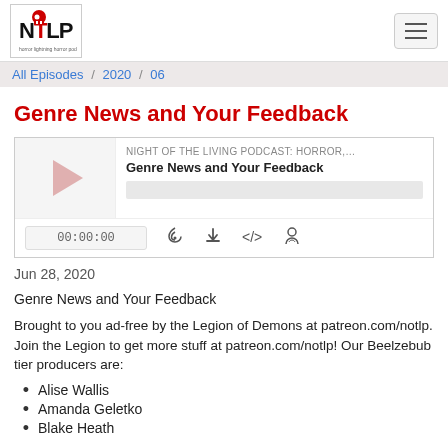NTLP Logo / Hamburger menu
All Episodes / 2020 / 06
Genre News and Your Feedback
[Figure (other): Podcast player widget with thumbnail, episode title 'Genre News and Your Feedback', podcast name 'NIGHT OF THE LIVING PODCAST: HORROR, SCI-FI AND FANTASY P', progress bar, time display 00:00:00, and control icons (RSS, download, embed, share)]
Jun 28, 2020
Genre News and Your Feedback
Brought to you ad-free by the Legion of Demons at patreon.com/notlp. Join the Legion to get more stuff at patreon.com/notlp! Our Beelzebub tier producers are:
Alise Wallis
Amanda Geletko
Blake Heath